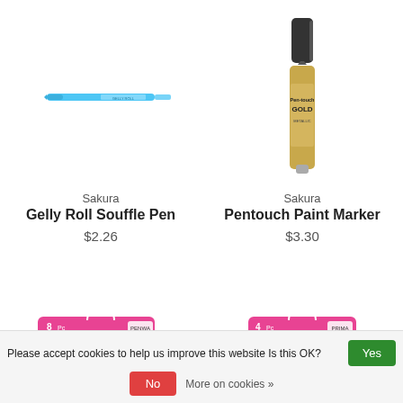[Figure (photo): Sakura Gelly Roll Souffle Pen - a light blue pen with a slim profile]
[Figure (photo): Sakura Pentouch Paint Marker - a gold-colored marker pen with black cap]
Sakura
Gelly Roll Souffle Pen
$2.26
Sakura
Pentouch Paint Marker
$3.30
[Figure (photo): Partially visible product with pink packaging showing 8 pieces - Penwa brand]
[Figure (photo): Partially visible product with pink packaging showing 4 pieces - Prima brand]
Please accept cookies to help us improve this website Is this OK?
Yes
No
More on cookies »